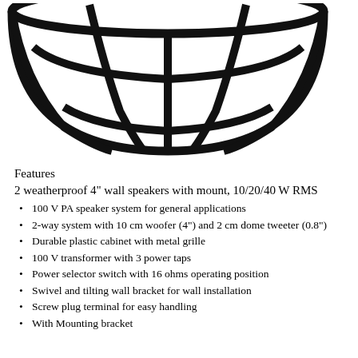[Figure (illustration): Hemisphere speaker grille illustration showing a dome-shaped speaker with curved grid lines forming a basket/globe pattern, rendered in black on white background.]
Features
2 weatherproof 4" wall speakers with mount, 10/20/40 W RMS
100 V PA speaker system for general applications
2-way system with 10 cm woofer (4") and 2 cm dome tweeter (0.8")
Durable plastic cabinet with metal grille
100 V transformer with 3 power taps
Power selector switch with 16 ohms operating position
Swivel and tilting wall bracket for wall installation
Screw plug terminal for easy handling
With Mounting bracket